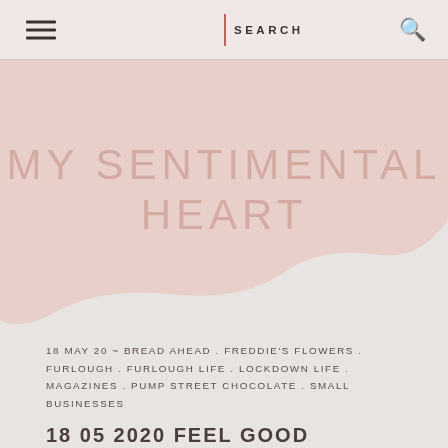≡  |  SEARCH  🔍
MY SENTIMENTAL HEART
18 MAY 20 ~ BREAD AHEAD . FREDDIE'S FLOWERS . FURLOUGH . FURLOUGH LIFE . LOCKDOWN LIFE . MAGAZINES . PUMP STREET CHOCOLATE . SMALL BUSINESSES
18 05 2020 FEEL GOOD